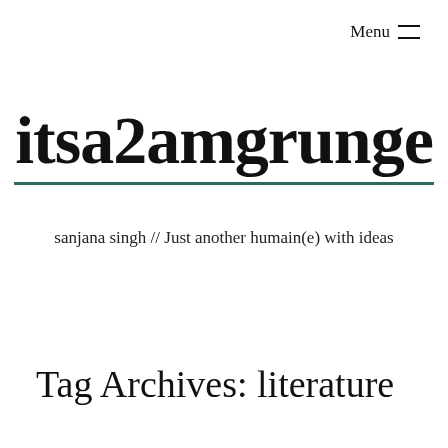Menu ≡
itsa2amgrunge
sanjana singh // Just another humain(e) with ideas
Tag Archives: literature